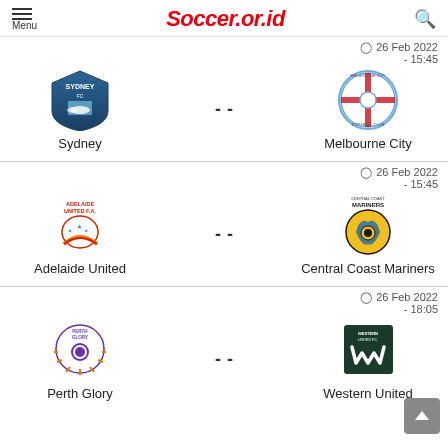Soccer.or.id
26 Feb 2022 - 15:45
Sydney vs Melbourne City
26 Feb 2022 - 15:45
Adelaide United vs Central Coast Mariners
26 Feb 2022 - 18:05
Perth Glory vs Western United